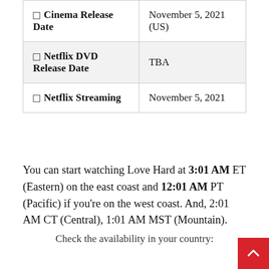|  |  |
| --- | --- |
| ☐ Cinema Release Date | November 5, 2021 (US) |
| ☐ Netflix DVD Release Date | TBA |
| ☐ Netflix Streaming | November 5, 2021 |
You can start watching Love Hard at 3:01 AM ET (Eastern) on the east coast and 12:01 AM PT (Pacific) if you're on the west coast. And, 2:01 AM CT (Central), 1:01 AM MST (Mountain).
Check the availability in your country: